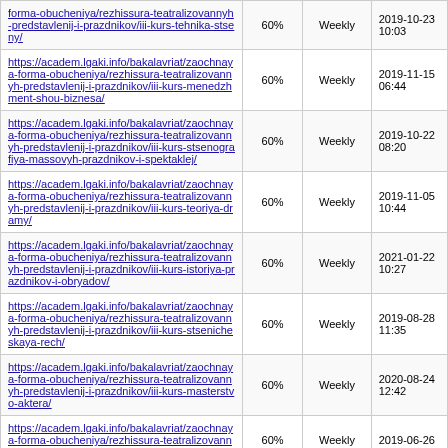| URL | Priority | Change Frequency | Last Modified |
| --- | --- | --- | --- |
| https://academ.lgaki.info/bakalavriat/zaochnaya-forma-obucheniya/rezhissura-teatralizovannyh-predstavlenij-i-prazdnikov/iii-kurs-tehnika-stseny/ | 60% | Weekly | 2019-10-23 10:03 |
| https://academ.lgaki.info/bakalavriat/zaochnaya-forma-obucheniya/rezhissura-teatralizovannyh-predstavlenij-i-prazdnikov/iii-kurs-menedzhment-shou-biznesa/ | 60% | Weekly | 2019-11-15 06:44 |
| https://academ.lgaki.info/bakalavriat/zaochnaya-forma-obucheniya/rezhissura-teatralizovannyh-predstavlenij-i-prazdnikov/iii-kurs-stsenografiya-massovyh-prazdnikov-i-spektaklej/ | 60% | Weekly | 2019-10-22 08:20 |
| https://academ.lgaki.info/bakalavriat/zaochnaya-forma-obucheniya/rezhissura-teatralizovannyh-predstavlenij-i-prazdnikov/iii-kurs-teoriya-dramy/ | 60% | Weekly | 2019-11-05 10:44 |
| https://academ.lgaki.info/bakalavriat/zaochnaya-forma-obucheniya/rezhissura-teatralizovannyh-predstavlenij-i-prazdnikov/iii-kurs-istoriya-prazdnikov-i-obryadov/ | 60% | Weekly | 2021-01-22 10:27 |
| https://academ.lgaki.info/bakalavriat/zaochnaya-forma-obucheniya/rezhissura-teatralizovannyh-predstavlenij-i-prazdnikov/iii-kurs-stsenicheskaya-rech/ | 60% | Weekly | 2019-08-28 11:35 |
| https://academ.lgaki.info/bakalavriat/zaochnaya-forma-obucheniya/rezhissura-teatralizovannyh-predstavlenij-i-prazdnikov/iii-kurs-masterstvo-aktera/ | 60% | Weekly | 2020-08-24 12:42 |
| https://academ.lgaki.info/bakalavriat/zaochnaya-forma-obucheniya/rezhissura-teatralizovannyh-predstavlenij-i-prazdnikov/iii- | 60% | Weekly | 2019-06-26 |